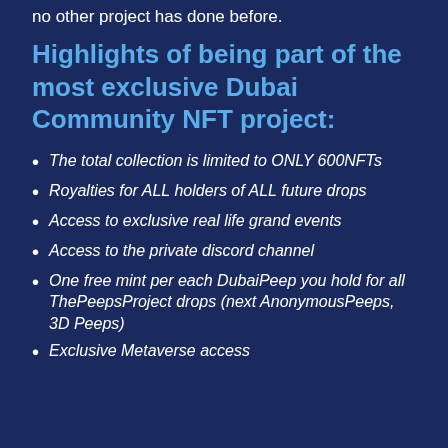no other project has done before.
Highlights of being part of the most exclusive Dubai Community NFT project:
The total collection is limited to ONLY 600NFTs
Royalties for ALL holders of ALL future drops
Access to exclusive real life grand events
Access to the private discord channel
One free mint per each DubaiPeep you hold for all ThePeepsProject drops (next AnonymousPeeps, 3D Peeps)
Exclusive Metaverse access